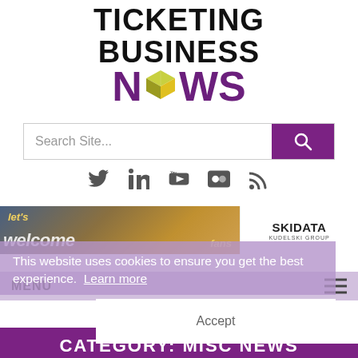[Figure (logo): Ticketing Business News logo with stylized cube replacing 'O' in NEWS, purple and black wordmark]
[Figure (screenshot): Search bar with 'Search Site...' placeholder and purple search button with magnifying glass icon]
[Figure (infographic): Social media icons row: Twitter, LinkedIn, YouTube, Flickr, RSS]
[Figure (photo): Ad banner showing 'let's welcome fans' stadium image with SKIDATA logo]
This website uses cookies to ensure you get the best experience.  Learn more
Accept
MENU
CATEGORY: MISC NEWS